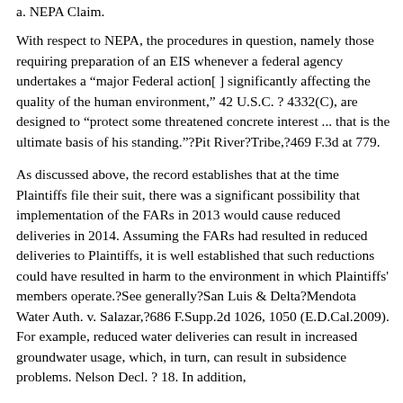a. NEPA Claim.
With respect to NEPA, the procedures in question, namely those requiring preparation of an EIS whenever a federal agency undertakes a "major Federal action[ ] significantly affecting the quality of the human environment," 42 U.S.C. ? 4332(C), are designed to "protect some threatened concrete interest ... that is the ultimate basis of his standing."?Pit River?Tribe,?469 F.3d at 779.
As discussed above, the record establishes that at the time Plaintiffs file their suit, there was a significant possibility that implementation of the FARs in 2013 would cause reduced deliveries in 2014. Assuming the FARs had resulted in reduced deliveries to Plaintiffs, it is well established that such reductions could have resulted in harm to the environment in which Plaintiffs' members operate.?See generally?San Luis & Delta?Mendota Water Auth. v. Salazar,?686 F.Supp.2d 1026, 1050 (E.D.Cal.2009). For example, reduced water deliveries can result in increased groundwater usage, which, in turn, can result in subsidence problems. Nelson Decl. ? 18. In addition,